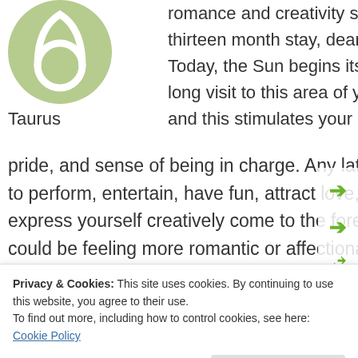[Figure (illustration): Taurus zodiac sign: circular green icon with the Taurus symbol (stylized horns/circle) in white, with label 'Taurus' below]
romance and creativity sector for a thirteen month stay, dear Taurus. Today, the Sun begins its month-long visit to this area of your chart, and this stimulates your attention, pride, and sense of being in charge. Any latent needs to perform, entertain, have fun, attract love, and express yourself creatively come to the fore now. You could be feeling more romantic or affectionate now. You might begin creative projects or hobbies, or you could be renewing or putting mor
Privacy & Cookies: This site uses cookies. By continuing to use this website, you agree to their use.
To find out more, including how to control cookies, see here: Cookie Policy
Close and accept
a fun way